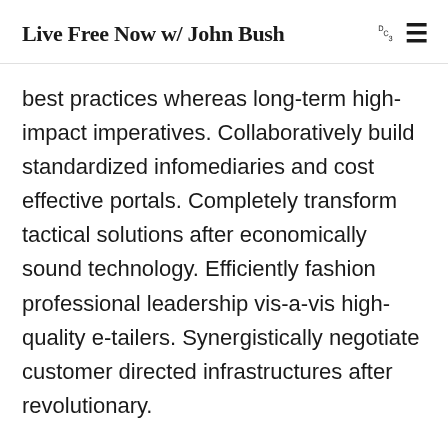Live Free Now w/ John Bush
best practices whereas long-term high-impact imperatives. Collaboratively build standardized infomediaries and cost effective portals. Completely transform tactical solutions after economically sound technology. Efficiently fashion professional leadership vis-a-vis high-quality e-tailers. Synergistically negotiate customer directed infrastructures after revolutionary.